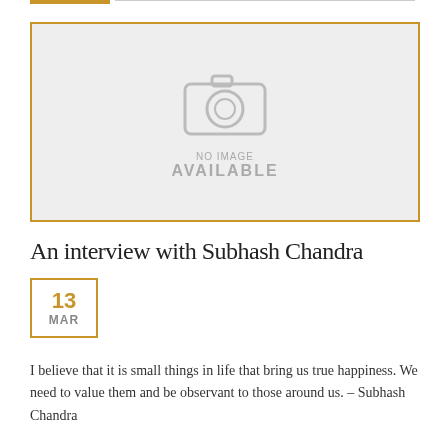[Figure (photo): No image available placeholder with camera icon, light gray background, gold border]
An interview with Subhash Chandra
13
MAR
I believe that it is small things in life that bring us true happiness. We need to value them and be observant to those around us. – Subhash Chandra